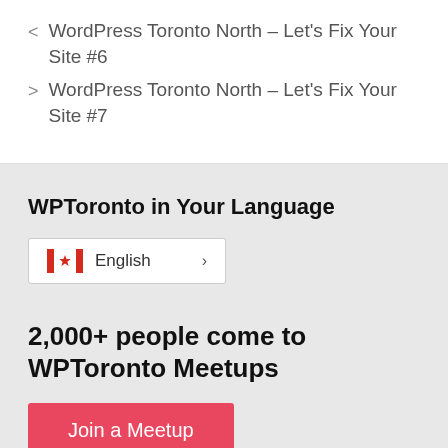< WordPress Toronto North – Let's Fix Your Site #6
> WordPress Toronto North – Let's Fix Your Site #7
WPToronto in Your Language
English >
2,000+ people come to WPToronto Meetups
Join a Meetup